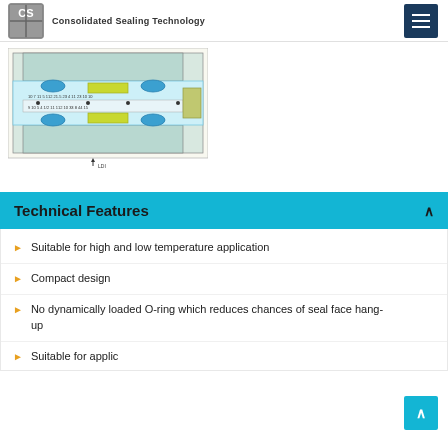Consolidated Sealing Technology
[Figure (engineering-diagram): Cross-sectional engineering diagram of a mechanical seal assembly showing internal components, O-rings, and seal faces with part number callouts]
Technical Features
Suitable for high and low temperature application
Compact design
No dynamically loaded O-ring which reduces chances of seal face hang-up
Suitable for applications with high and low...